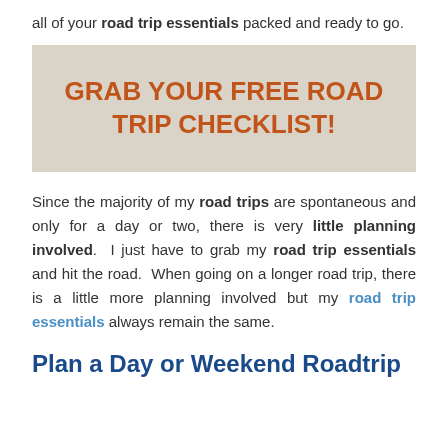all of your road trip essentials packed and ready to go.
[Figure (other): Promotional box with tan/beige background containing text: GRAB YOUR FREE ROAD TRIP CHECKLIST!]
Since the majority of my road trips are spontaneous and only for a day or two, there is very little planning involved. I just have to grab my road trip essentials and hit the road. When going on a longer road trip, there is a little more planning involved but my road trip essentials always remain the same.
Plan a Day or Weekend Roadtrip